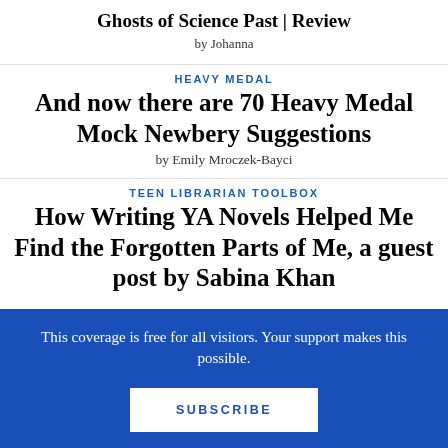Ghosts of Science Past | Review
by Johanna
HEAVY MEDAL
And now there are 70 Heavy Medal Mock Newbery Suggestions
by Emily Mroczek-Bayci
TEEN LIBRARIAN TOOLBOX
How Writing YA Novels Helped Me Find the Forgotten Parts of Me, a guest post by Sabina Khan
This coverage is free for all visitors. Your support makes this possible.
SUBSCRIBE